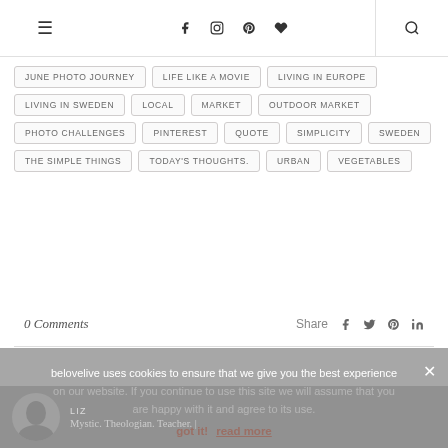Navigation header with hamburger menu, social icons (facebook, instagram, pinterest, heart), and search icon
JUNE PHOTO JOURNEY
LIFE LIKE A MOVIE
LIVING IN EUROPE
LIVING IN SWEDEN
LOCAL
MARKET
OUTDOOR MARKET
PHOTO CHALLENGES
PINTEREST
QUOTE
SIMPLICITY
SWEDEN
THE SIMPLE THINGS
TODAY'S THOUGHTS.
URBAN
VEGETABLES
0 Comments
Share
belovelive uses cookies to ensure that we give you the best experience on our website. If you continue to use this site we will assume that you are happy with it and agree to its use.
got it!  read more
LIZ
Mystic. Theologian. Teacher. |